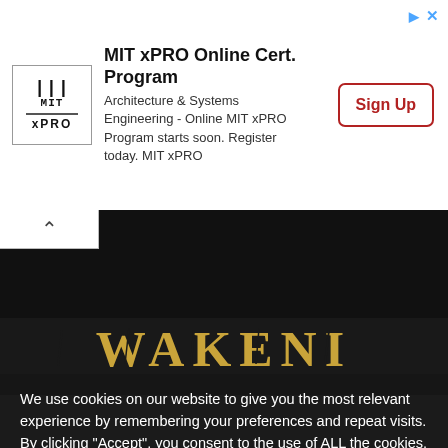[Figure (screenshot): MIT xPRO Online Cert. Program advertisement banner with logo, description text, and Sign Up button]
MIT xPRO Online Cert. Program
Architecture & Systems Engineering - Online MIT xPRO Program starts soon. Register today. MIT xPRO
Sign Up
[Figure (screenshot): Dark background area with partially visible WAKENI brand text in gold/yellow serif font]
We use cookies on our website to give you the most relevant experience by remembering your preferences and repeat visits. By clicking "Accept", you consent to the use of ALL the cookies.
Do not sell my personal information.
Cookie Settings
Accept